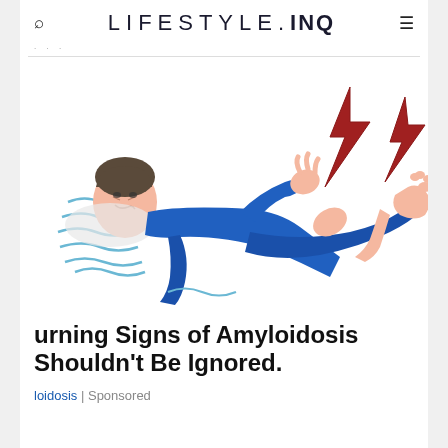LIFESTYLE.INQ
[Figure (illustration): Illustration of a person lying down in blue pajamas experiencing leg/foot pain with red lightning bolt symbols indicating pain near the foot/ankle area]
Warning Signs of Amyloidosis Shouldn't Be Ignored.
Amyloidosis | Sponsored